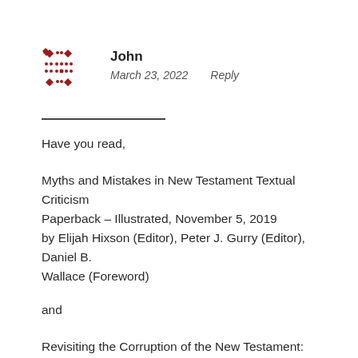[Figure (logo): Red decorative cross/diamond pattern avatar icon for user John]
John
March 23, 2022   Reply
Have you read,
Myths and Mistakes in New Testament Textual Criticism Paperback – Illustrated, November 5, 2019 by Elijah Hixson (Editor), Peter J. Gurry (Editor), Daniel B. Wallace (Foreword)
and
Revisiting the Corruption of the New Testament: Manuscript, Patristic, and Apocryphal Evidence (Text and